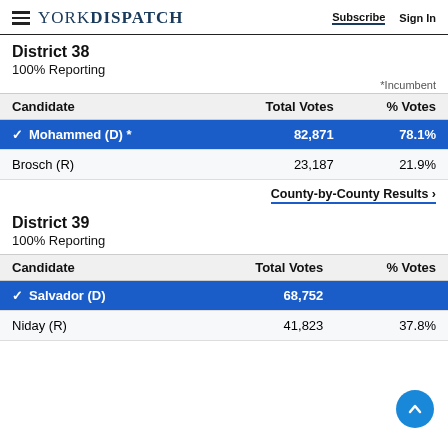YORK DISPATCH — Subscribe  Sign In
District 38
100% Reporting
*Incumbent
| Candidate | Total Votes | % Votes |
| --- | --- | --- |
| ✓ Mohammed (D) * | 82,871 | 78.1% |
| Brosch (R) | 23,187 | 21.9% |
County-by-County Results ›
District 39
100% Reporting
| Candidate | Total Votes | % Votes |
| --- | --- | --- |
| ✓ Salvador (D) | 68,752 | 62% |
| Niday (R) | 41,823 | 37.8% |